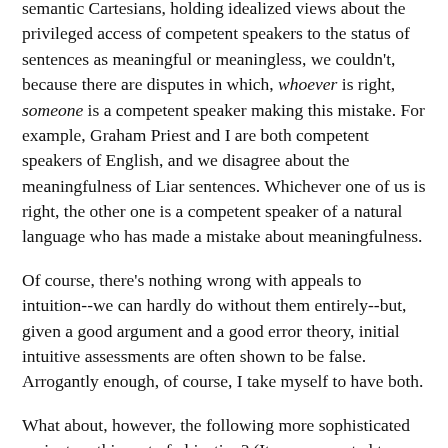semantic Cartesians, holding idealized views about the privileged access of competent speakers to the status of sentences as meaningful or meaningless, we couldn't, because there are disputes in which, whoever is right, someone is a competent speaker making this mistake. For example, Graham Priest and I are both competent speakers of English, and we disagree about the meaningfulness of Liar sentences. Whichever one of us is right, the other one is a competent speaker of a natural language who has made a mistake about meaningfulness.
Of course, there's nothing wrong with appeals to intuition--we can hardly do without them entirely--but, given a good argument and a good error theory, initial intuitive assessments are often shown to be false. Arrogantly enough, of course, I take myself to have both.
What about, however, the following more sophisticated variant on this sort of objection? (It was presented to me by a junior faculty member at the University of Miami a year or so ago, and I don't think I took it seriously enough at the time.) Someone like me, who says that Liars are meaningless, has presumably been convinced of it by prolonged reflection on